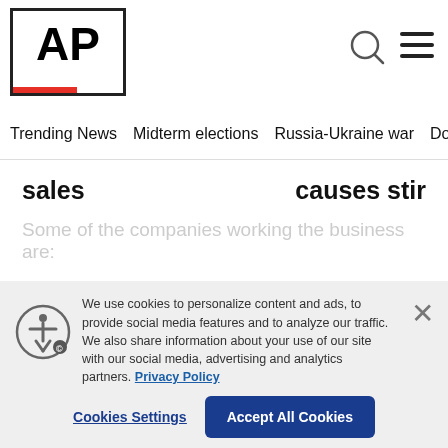[Figure (logo): AP (Associated Press) logo — bold black AP text with red underbar in a white box]
Trending News  Midterm elections  Russia-Ukraine war  Dona
sales    causes stir
Some of the companies working the business are:
READ MORE
We use cookies to personalize content and ads, to provide social media features and to analyze our traffic. We also share information about your use of our site with our social media, advertising and analytics partners. Privacy Policy
Cookies Settings
Accept All Cookies